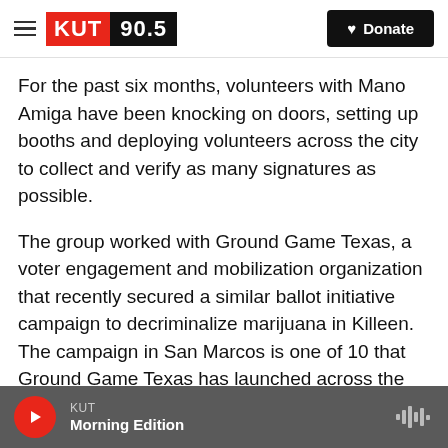KUT 90.5 | Donate
For the past six months, volunteers with Mano Amiga have been knocking on doors, setting up booths and deploying volunteers across the city to collect and verify as many signatures as possible.
The group worked with Ground Game Texas, a voter engagement and mobilization organization that recently secured a similar ballot initiative campaign to decriminalize marijuana in Killeen. The campaign in San Marcos is one of 10 that Ground Game Texas has launched across the state. It was behind the ballot measure in Austin to decriminalize weed and ban no-knock warrants,
KUT | Morning Edition